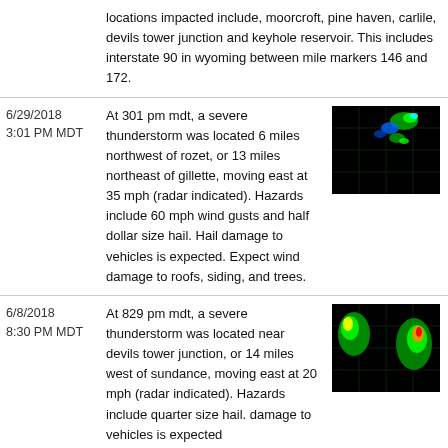| Date/Time | Description | Radar |
| --- | --- | --- |
| (continuation) | locations impacted include, moorcroft, pine haven, carlile, devils tower junction and keyhole reservoir. This includes interstate 90 in wyoming between mile markers 146 and 172. |  |
| 6/29/2018 3:01 PM MDT | At 301 pm mdt, a severe thunderstorm was located 6 miles northwest of rozet, or 13 miles northeast of gillette, moving east at 35 mph (radar indicated). Hazards include 60 mph wind gusts and half dollar size hail. Hail damage to vehicles is expected. Expect wind damage to roofs, siding, and trees. | radar image |
| 6/8/2018 8:30 PM MDT | At 829 pm mdt, a severe thunderstorm was located near devils tower junction, or 14 miles west of sundance, moving east at 20 mph (radar indicated). Hazards include quarter size hail. damage to vehicles is expected | radar image |
| 6/8/2018 8:17 PM MDT | At 816 pm mdt, a severe thunderstorm was located near carlile, or 21 miles west of sundance, moving east at 30 mph (radar indicated). Hazards include ping | radar image |